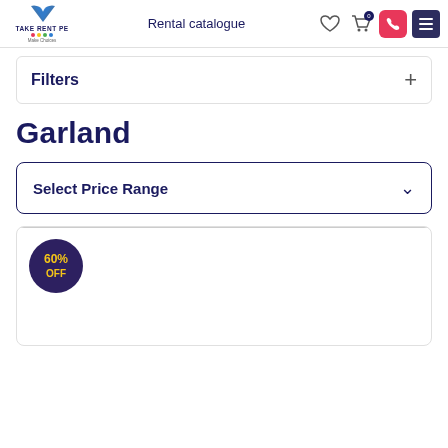Take Rent Pe | Rental catalogue
Filters
Garland
Select Price Range
[Figure (other): Product card with 60% OFF discount badge circle in dark purple with yellow text]